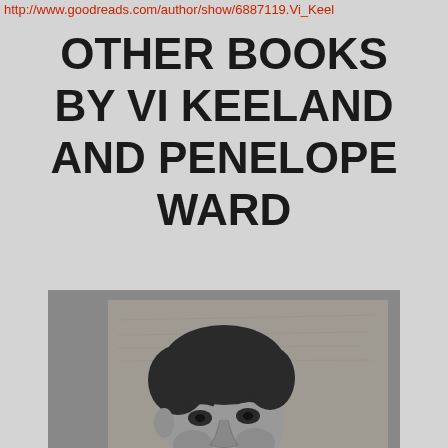http://www.goodreads.com/author/show/6887119.Vi_Keel
OTHER BOOKS BY VI KEELAND AND PENELOPE WARD
[Figure (photo): Book cover of 'Dirty Letters' by Vi Keeland and Penelope Ward. Black and white photo of a young man looking forward, with gold text reading 'DIRTY LETTERS' and subtitle 'New York Times Bestselling Authors VI KEELAND PENELOPE WARD' at the bottom.]